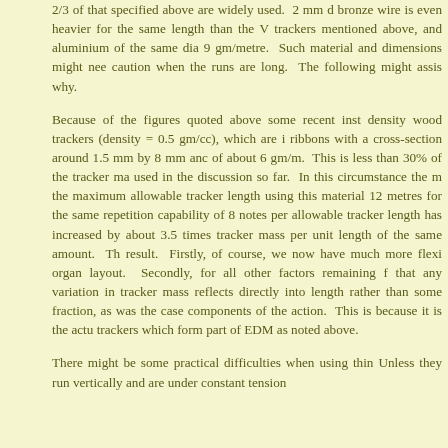2/3 of that specified above are widely used.  2 mm d bronze wire is even heavier for the same length than the V trackers mentioned above, and aluminium of the same dia 9 gm/metre.  Such material and dimensions might nee caution when the runs are long.  The following might assis why.
Because of the figures quoted above some recent inst density wood trackers (density = 0.5 gm/cc), which are i ribbons with a cross-section around 1.5 mm by 8 mm and of about 6 gm/m.  This is less than 30% of the tracker ma used in the discussion so far.  In this circumstance the m the maximum allowable tracker length using this material 12 metres for the same repetition capability of 8 notes per allowable tracker length has increased by about 3.5 times tracker mass per unit length of the same amount.  Th result.  Firstly, of course, we now have much more flexi organ layout.  Secondly, for all other factors remaining f that any variation in tracker mass reflects directly into length rather than some fraction, as was the case components of the action.  This is because it is the act trackers which form part of EDM as noted above.
There might be some practical difficulties when using thin Unless they run vertically and are under constant tension